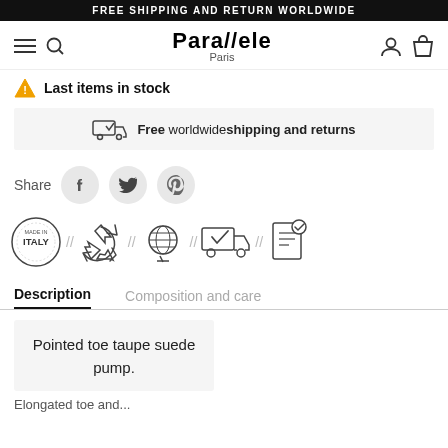FREE SHIPPING AND RETURN WORLDWIDE
[Figure (logo): Para//ele Paris logo with navigation icons (hamburger menu, search, user, bag)]
⚠ Last items in stock
Free worldwide shipping and returns
[Figure (infographic): Social share icons: Facebook, Twitter, Pinterest]
[Figure (infographic): Brand badges: Made in Italy, recycling, world/ethical, delivery truck, document check]
Description | Composition and care
Pointed toe taupe suede pump.
Elongated toe and...